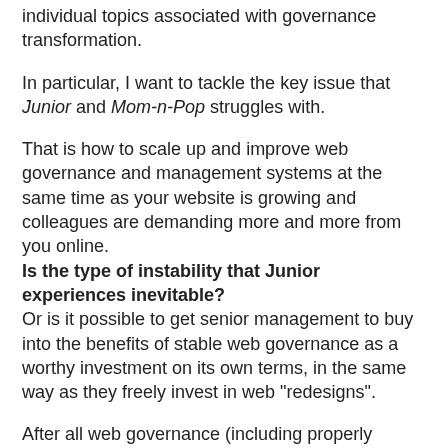individual topics associated with governance transformation.
In particular, I want to tackle the key issue that Junior and Mom-n-Pop struggles with.
That is how to scale up and improve web governance and management systems at the same time as your website is growing and colleagues are demanding more and more from you online. Is the type of instability that Junior experiences inevitable? Or is it possible to get senior management to buy into the benefits of stable web governance as a worthy investment on its own terms, in the same way as they freely invest in web "redesigns".
After all web governance (including properly equipped team with the right skills, processes and tools) is the only that makes sure everything (UX, content, code) will all work together.
Surely it deserves attention?